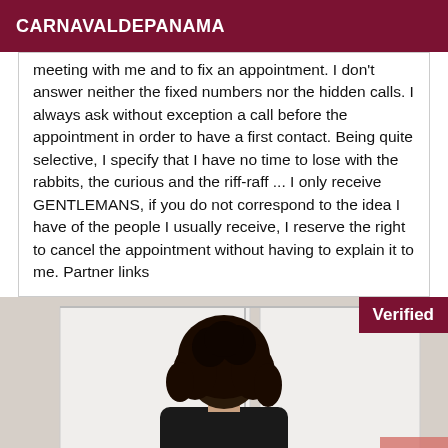CARNAVALDEPANAMA
meeting with me and to fix an appointment. I don't answer neither the fixed numbers nor the hidden calls. I always ask without exception a call before the appointment in order to have a first contact. Being quite selective, I specify that I have no time to lose with the rabbits, the curious and the riff-raff ... I only receive GENTLEMANS, if you do not correspond to the idea I have of the people I usually receive, I reserve the right to cancel the appointment without having to explain it to me. Partner links
[Figure (photo): Person with dark curly hair seen from behind, wearing dark clothing, standing in front of white closet doors. A 'Verified' badge is overlaid in the top right corner.]